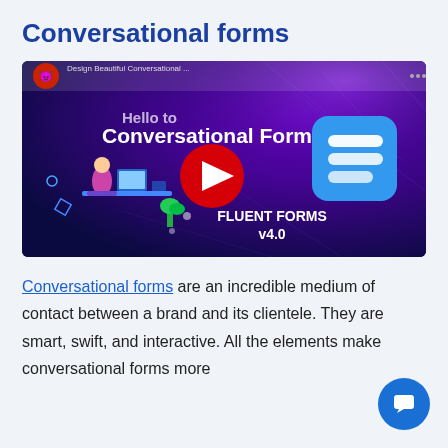Conversational forms
[Figure (screenshot): YouTube video thumbnail for 'Design Beautiful Conversational...' showing a person working at a desk with the text 'Hello to Conversational Form', a YouTube play button, and the Fluent Forms v4.0 logo on a dark blue/purple background with the WPManageNinja red ninja icon in the top left.]
Conversational forms are an incredible medium of contact between a brand and its clientele. They are smart, swift, and interactive. All the elements make conversational forms more